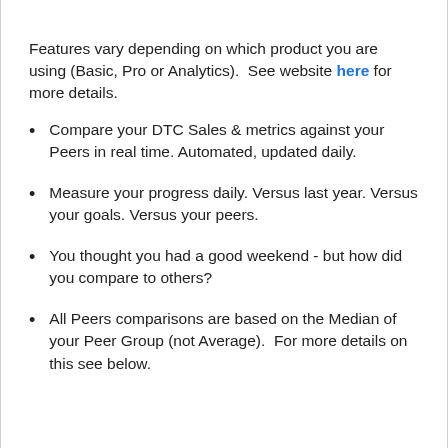Features vary depending on which product you are using (Basic, Pro or Analytics).  See website here for more details.
Compare your DTC Sales & metrics against your Peers in real time. Automated, updated daily.
Measure your progress daily. Versus last year. Versus your goals. Versus your peers.
You thought you had a good weekend - but how did you compare to others?
All Peers comparisons are based on the Median of your Peer Group (not Average).  For more details on this see below.